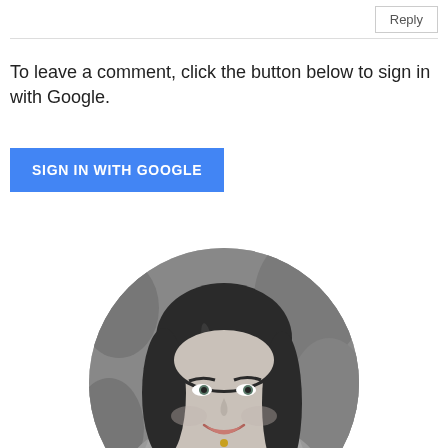Reply
To leave a comment, click the button below to sign in with Google.
SIGN IN WITH GOOGLE
[Figure (photo): Circular cropped black and white profile photo of a woman with dark shoulder-length hair, smiling, wearing a knit sweater, with a blurred outdoor background.]